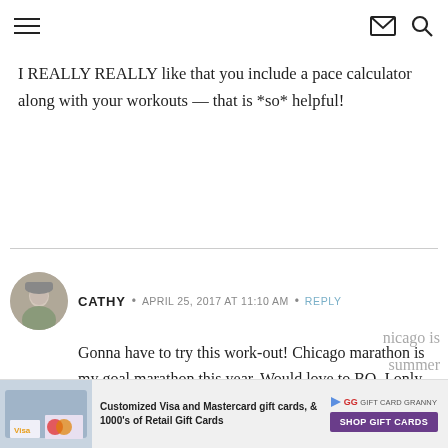[hamburger menu icon] [envelope icon] [search icon]
I REALLY REALLY like that you include a pace calculator along with your workouts — that is *so* helpful!
CATHY • APRIL 25, 2017 AT 11:10 AM • REPLY
Gonna have to try this work-out! Chicago marathon is my goal marathon this year. Would love to BQ. I only need a 4:10 which I think I am capable of. It just takes
[Ad] Customized Visa and Mastercard gift cards, & 1000's of Retail Gift Cards  GG GIFT CARD GRANNY  SHOP GIFT CARDS